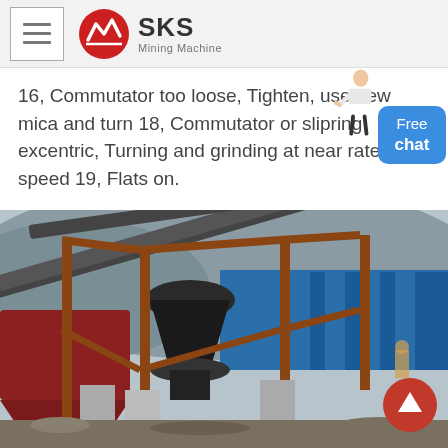SKS Mining Machine
16, Commutator too loose, Tighten, use new mica and turn 18, Commutator or slipring excentric, Turning and grinding at near rated speed 19, Flats on.
[Figure (photo): Industrial mining site with conveyor belts, steel framework structures, a cone crusher, and concrete pillars at a stone crushing plant.]